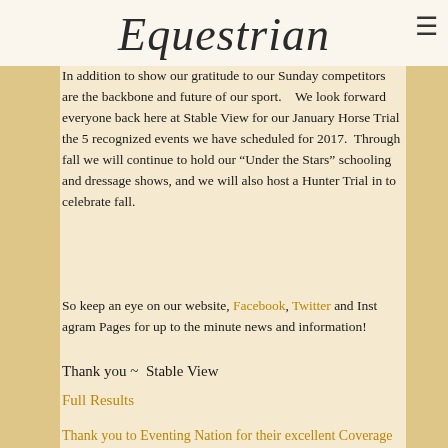Equestrian
brought them home safely.

In addition to show our gratitude to our Sunday competitors are the backbone and future of our sport.   We look forward everyone back here at Stable View for our January Horse T the 5 recognized events we have scheduled for 2017.  Thr fall we will continue to hold our “Under the Stars” schooli and dressage shows, and we will also host a Hunter Trial i to celebrate fall.
So keep an eye on our website, Facebook, Twitter and Inst Pages for up to the minute news and information!
Thank you ~  Stable View
Full Results
Thank you to Eventing Nation for their excellent Coverage